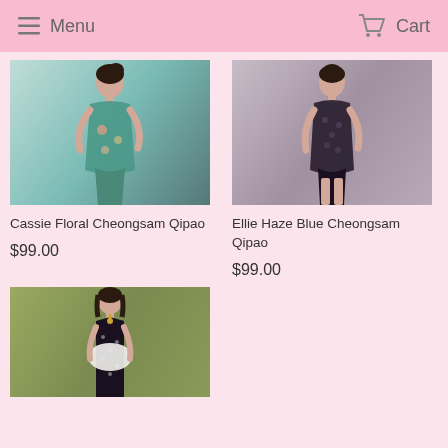Menu  Cart
[Figure (photo): Woman wearing a teal/green floral cheongsam qipao dress, posing against a grey background]
Cassie Floral Cheongsam Qipao
$99.00
[Figure (photo): Woman wearing a dark/black lace cheongsam qipao dress, posing against a grey background]
Ellie Haze Blue Cheongsam Qipao
$99.00
[Figure (photo): Woman wearing a black halter-neck cheongsam dress, holding a white fan clutch, posing against an olive green background]